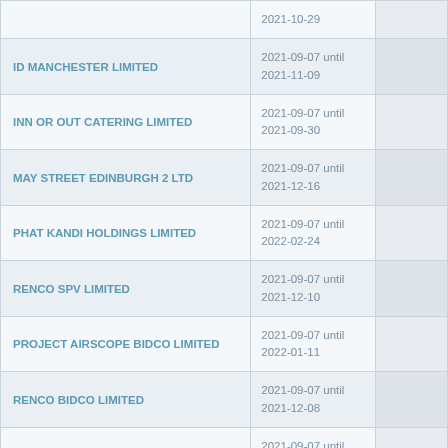|  | 2021-10-29 |  |
| ID MANCHESTER LIMITED | 2021-09-07 until
2021-11-09 |  |
| INN OR OUT CATERING LIMITED | 2021-09-07 until
2021-09-30 |  |
| MAY STREET EDINBURGH 2 LTD | 2021-09-07 until
2021-12-16 |  |
| PHAT KANDI HOLDINGS LIMITED | 2021-09-07 until
2022-02-24 |  |
| RENCO SPV LIMITED | 2021-09-07 until
2021-12-10 |  |
| PROJECT AIRSCOPE BIDCO LIMITED | 2021-09-07 until
2022-01-11 |  |
| RENCO BIDCO LIMITED | 2021-09-07 until
2021-12-08 |  |
|  | 2021-09-07 until |  |